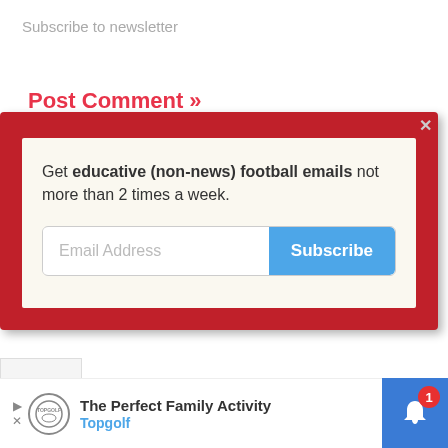Subscribe to newsletter
Post Comment »
[Figure (screenshot): Newsletter subscription popup with red border, containing text 'Get educative (non-news) football emails not more than 2 times a week.' with an Email Address input field and a blue Subscribe button. A close (x) button is in the top-right corner.]
[Figure (screenshot): Advertisement banner at bottom: Topgolf 'The Perfect Family Activity' ad with logo and navigation arrow icon. Blue notification bell button with badge showing '1' in bottom-right corner.]